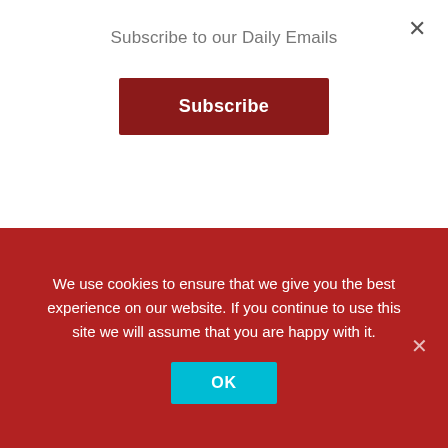Subscribe to our Daily Emails
Subscribe
Swiss Quickline to show Euro 2016 in Ultra HD
MAY 17, 2016 23:00 EUROPE/LONDON BY JÖRN KRIEGER
The Swiss cable
We use cookies to ensure that we give you the best experience on our website. If you continue to use this site we will assume that you are happy with it.
OK